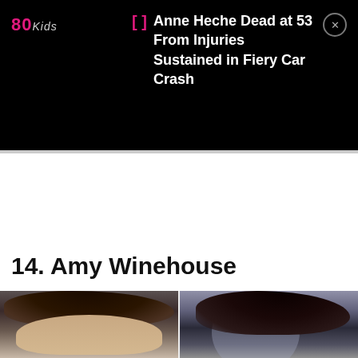80s Kids
Anne Heche Dead at 53 From Injuries Sustained in Fiery Car Crash
14. Amy Winehouse
[Figure (photo): Two side-by-side photos of Amy Winehouse showing her hair, cropped at the top of the page bottom]